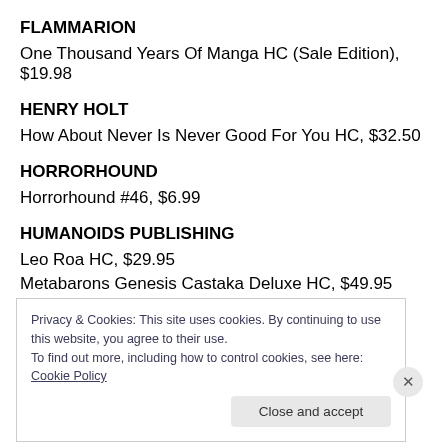FLAMMARION
One Thousand Years Of Manga HC (Sale Edition), $19.98
HENRY HOLT
How About Never Is Never Good For You HC, $32.50
HORRORHOUND
Horrorhound #46, $6.99
HUMANOIDS PUBLISHING
Leo Roa HC, $29.95
Metabarons Genesis Castaka Deluxe HC, $49.95
Privacy & Cookies: This site uses cookies. By continuing to use this website, you agree to their use.
To find out more, including how to control cookies, see here: Cookie Policy